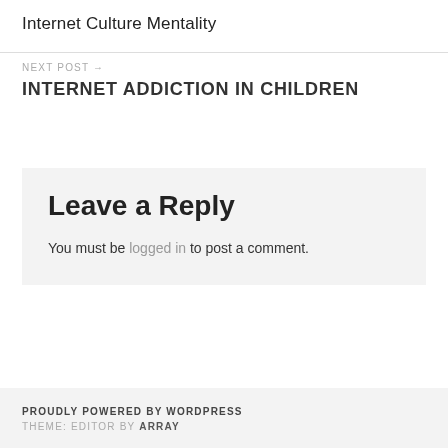Internet Culture Mentality
NEXT POST →
INTERNET ADDICTION IN CHILDREN
Leave a Reply
You must be logged in to post a comment.
PROUDLY POWERED BY WORDPRESS
THEME: EDITOR BY ARRAY